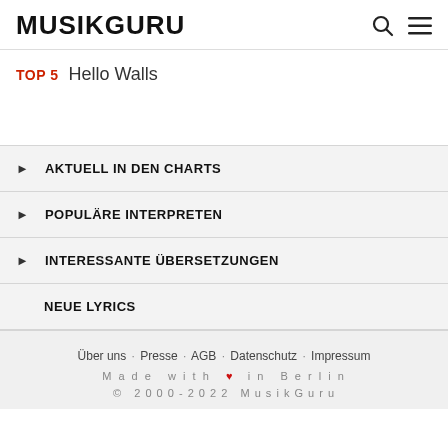MUSIKGURU
TOP 5   Hello Walls
AKTUELL IN DEN CHARTS
POPULÄRE INTERPRETEN
INTERESSANTE ÜBERSETZUNGEN
NEUE LYRICS
Über uns · Presse · AGB · Datenschutz · Impressum
Made with ♥ in Berlin
© 2000-2022 MusikGuru